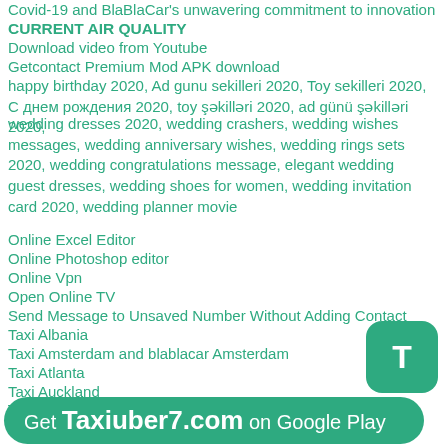Covid-19 and BlaBlaCar's unwavering commitment to innovation
CURRENT AIR QUALITY
Download video from Youtube
Getcontact Premium Mod APK download
happy birthday 2020, Ad gunu sekilleri 2020, Toy sekilleri 2020, C днем рождения 2020, toy şəkilləri 2020, ad günü şəkilləri 2020,
wedding dresses 2020, wedding crashers, wedding wishes messages, wedding anniversary wishes, wedding rings sets 2020, wedding congratulations message, elegant wedding guest dresses, wedding shoes for women, wedding invitation card 2020, wedding planner movie
Online Excel Editor
Online Photoshop editor
Online Vpn
Open Online TV
Send Message to Unsaved Number Without Adding Contact
Taxi Albania
Taxi Amsterdam and blablacar Amsterdam
Taxi Atlanta
Taxi Auckland
Taxi Australia
Taxi Austria
Taxi Azerbaijan
Taxi Baku
Taxi Barcelona
Taxi Belarus
[Figure (other): Green rounded T button icon]
Get Taxiuber7.com on Google Play